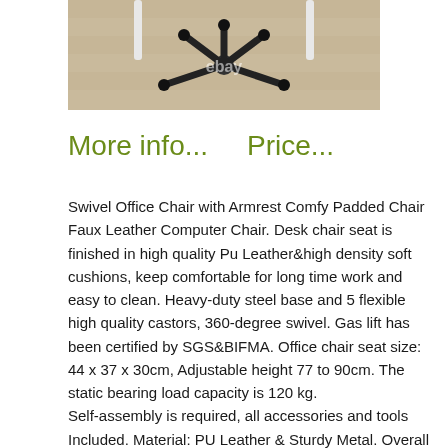[Figure (photo): Photo of an office chair base with castors and white legs, viewed from below, on a wooden floor. eBay watermark visible.]
More info...    Price...
Swivel Office Chair with Armrest Comfy Padded Chair Faux Leather Computer Chair. Desk chair seat is finished in high quality Pu Leather&high density soft cushions, keep comfortable for long time work and easy to clean. Heavy-duty steel base and 5 flexible high quality castors, 360-degree swivel. Gas lift has been certified by SGS&BIFMA. Office chair seat size: 44 x 37 x 30cm, Adjustable height 77 to 90cm. The static bearing load capacity is 120 kg.
Self-assembly is required, all accessories and tools Included. Material: PU Leather & Sturdy Metal. Overall Dimension: 62×62×77--92 cm/24.4×24.4×30.3--36.2 in.
Back Dimension: 44 x 30 cm/17.3×11.8 in. Easy assembled...